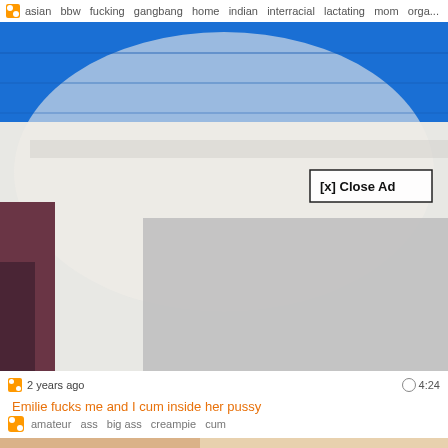asian  bbw  fucking  gangbang  home  indian  interracial  lactating  mom  orga...
[Figure (photo): Close-up photo showing a person wearing a blue top and white pants/leggings, lower torso area. A gray overlay panel covers the lower right portion of the image. A '[x] Close Ad' button appears over the photo.]
2 years ago
4:24
Emilie fucks me and I cum inside her pussy
amateur  ass  big ass  creampie  cum
[Figure (photo): Partial view of another video thumbnail at the bottom of the page.]